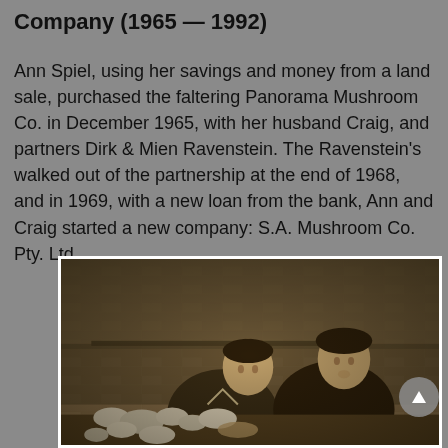Company (1965 — 1992)
Ann Spiel, using her savings and money from a land sale, purchased the faltering Panorama Mushroom Co. in December 1965, with her husband Craig, and partners Dirk & Mien Ravenstein. The Ravenstein's walked out of the partnership at the end of 1968, and in 1969, with a new loan from the bank, Ann and Craig started a new company: S.A. Mushroom Co. Pty. Ltd.
[Figure (photo): Black and white sepia-toned photograph of two men examining mushrooms growing in a mushroom farm. They are bent over looking at the mushrooms on a growing bed, with a brick wall visible in the background.]